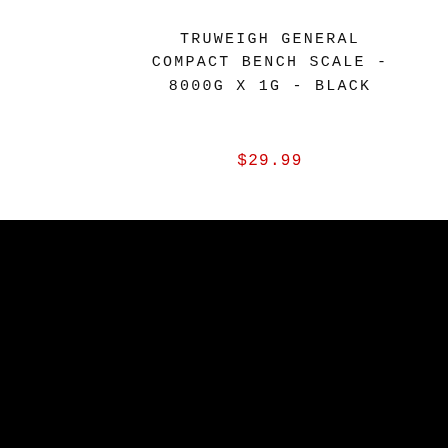TRUWEIGH GENERAL COMPACT BENCH SCALE - 8000G X 1G - BLACK
$29.99
OUR POLICIES
Privacy Policy
Shipping Policy
Refund Policy
Terms of Use